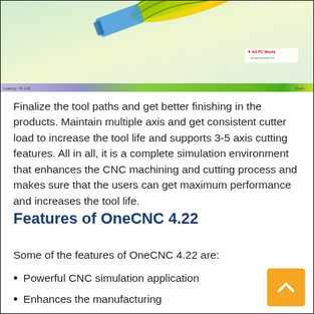[Figure (screenshot): Screenshot of OneCNC 4.22 CNC simulation software showing a 3D rendered cutting tool (green/yellow/orange) against a light background, with a toolbar at the bottom and All PC World logo watermark.]
Finalize the tool paths and get better finishing in the products. Maintain multiple axis and get consistent cutter load to increase the tool life and supports 3-5 axis cutting features. All in all, it is a complete simulation environment that enhances the CNC machining and cutting process and makes sure that the users can get maximum performance and increases the tool life.
Features of OneCNC 4.22
Some of the features of OneCNC 4.22 are:
Powerful CNC simulation application
Enhances the manufacturing